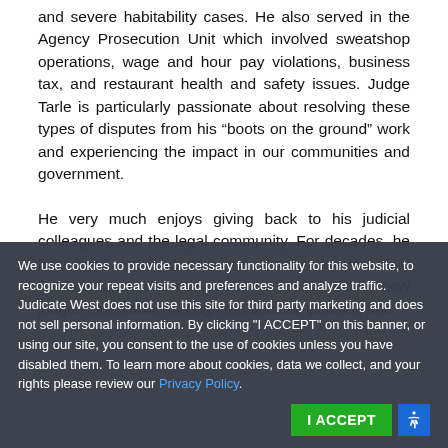and severe habitability cases. He also served in the Agency Prosecution Unit which involved sweatshop operations, wage and hour pay violations, business tax, and restaurant health and safety issues. Judge Tarle is particularly passionate about resolving these types of disputes from his “boots on the ground” work and experiencing the impact in our communities and government.
He very much enjoys giving back to his judicial colleagues and the legal community. For decades, he has been involved with the Young Lawyers and Barristers sections of several bar associations, new judges’ orientation through the Judicial Council, and
We use cookies to provide necessary functionality for this website, to recognize your repeat visits and preferences and analyze traffic. Judicate West does not use this site for third party marketing and does not sell personal information. By clicking "I ACCEPT" on this banner, or using our site, you consent to the use of cookies unless you have disabled them. To learn more about cookies, data we collect, and your rights please review our Privacy Policy.